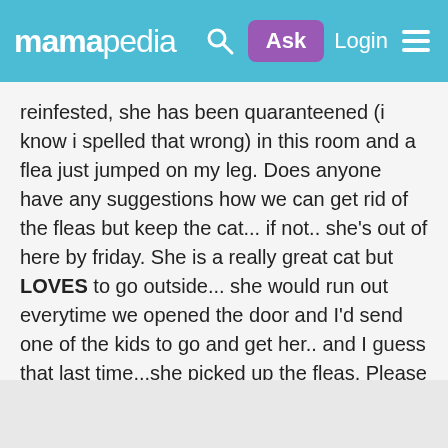mamapedia | Ask | Login
reinfested, she has been quaranteened (i know i spelled that wrong) in this room and a flea just jumped on my leg. Does anyone have any suggestions how we can get rid of the fleas but keep the cat... if not.. she's out of here by friday. She is a really great cat but LOVES to go outside... she would run out everytime we opened the door and I'd send one of the kids to go and get her.. and I guess that last time...she picked up the fleas. Please assist.. I hate to make the kids cry but I'm beginning to think that I have no choice. Thanks Ladies!